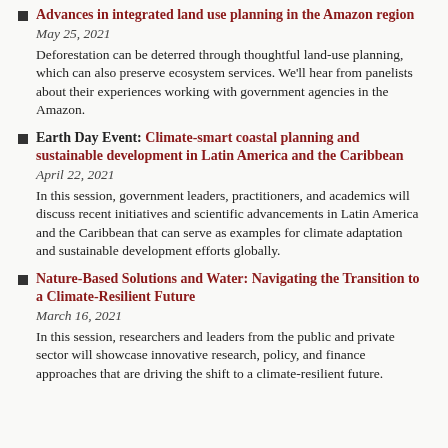Advances in integrated land use planning in the Amazon region
May 25, 2021
Deforestation can be deterred through thoughtful land-use planning, which can also preserve ecosystem services. We'll hear from panelists about their experiences working with government agencies in the Amazon.
Earth Day Event: Climate-smart coastal planning and sustainable development in Latin America and the Caribbean
April 22, 2021
In this session, government leaders, practitioners, and academics will discuss recent initiatives and scientific advancements in Latin America and the Caribbean that can serve as examples for climate adaptation and sustainable development efforts globally.
Nature-Based Solutions and Water: Navigating the Transition to a Climate-Resilient Future
March 16, 2021
In this session, researchers and leaders from the public and private sector will showcase innovative research, policy, and finance approaches that are driving the shift to a climate-resilient future.